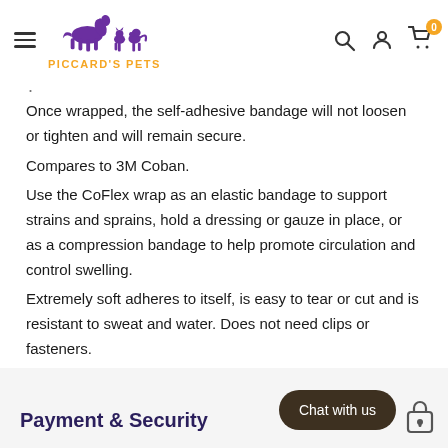Piccard's Pets — navigation header with logo, search, account, cart
Once wrapped, the self-adhesive bandage will not loosen or tighten and will remain secure.
Compares to 3M Coban.
Use the CoFlex wrap as an elastic bandage to support strains and sprains, hold a dressing or gauze in place, or as a compression bandage to help promote circulation and control swelling.
Extremely soft adheres to itself, is easy to tear or cut and is resistant to sweat and water. Does not need clips or fasteners.
Payment & Security